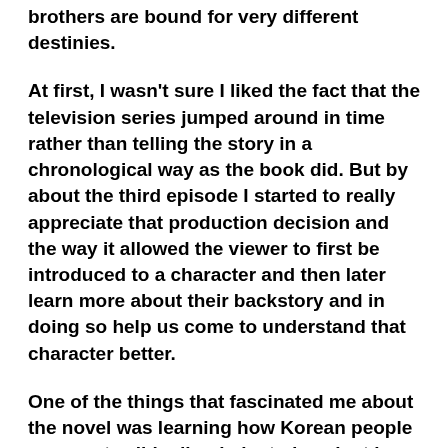brothers are bound for very different destinies.
At first, I wasn't sure I liked the fact that the television series jumped around in time rather than telling the story in a chronological way as the book did. But by about the third episode I started to really appreciate that production decision and the way it allowed the viewer to first be introduced to a character and then later learn more about their backstory and in doing so help us come to understand that character better.
One of the things that fascinated me about the novel was learning how Korean people were so terribly discriminated against by the Japanese who annexed Korea in 1910 the year the story in Pachinko begins. This aspect is emphasized even more in the television series with any number of scenes that don't take place in Japan but in Korea to convey what that discrimination